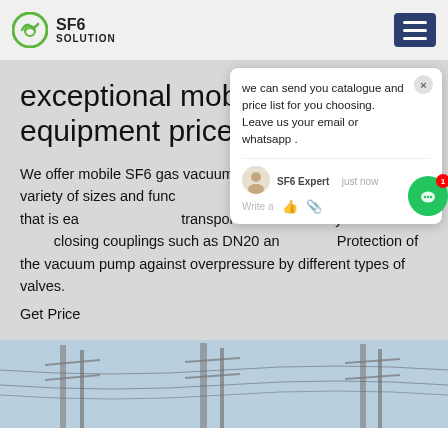SF6 SOLUTION
exceptional mobile SF6 equipment prices
We offer mobile SF6 gas vacuum pu... Arabia in a variety of sizes and func... include: Mobile equipment that is ea... transportation with trolley-like ro... closing couplings such as DN20 an... Protection of the vacuum pump against overpressure by different types of valves.
Get Price
[Figure (screenshot): Chat popup overlay with message: 'we can send you catalogue and price list for you choosing. Leave us your email or whatsapp .' with SF6 Expert avatar and just now timestamp]
[Figure (photo): Electrical power transmission tower infrastructure photo strip at bottom of page]